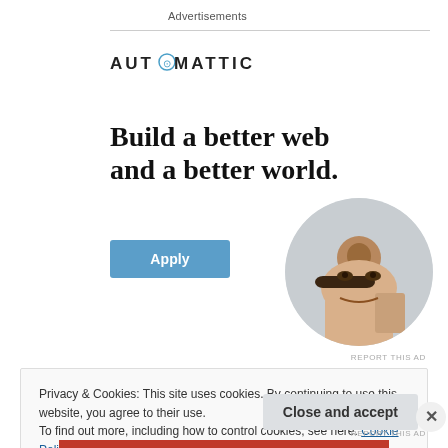Advertisements
[Figure (logo): Automattic logo with compass icon]
Build a better web and a better world.
[Figure (photo): A man with glasses thinking, hand on chin, sitting at a desk, circular crop]
REPORT THIS AD
Privacy & Cookies: This site uses cookies. By continuing to use this website, you agree to their use.
To find out more, including how to control cookies, see here: Cookie Policy
Close and accept